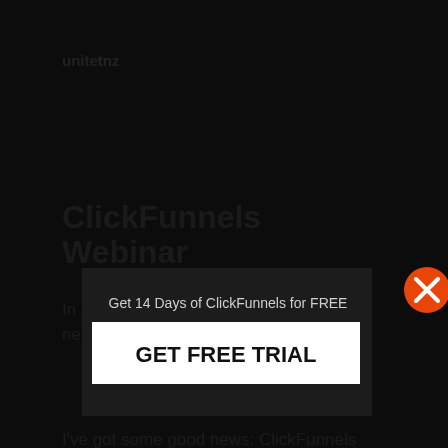unitetnz
ClickFunnels Webinar
In this post we will cover everything you need to know abou...
[Figure (screenshot): Modal popup overlay with text 'Get 14 Days of ClickFunnels for FREE' and a white button labeled 'GET FREE TRIAL', with an orange X close button in the top right]
I've got some good news: ClickFunnels does its job!
ClickFunnels is intended to save you time and energy-to do what otherwise requires a lot of technological proficiency and/or an array of third